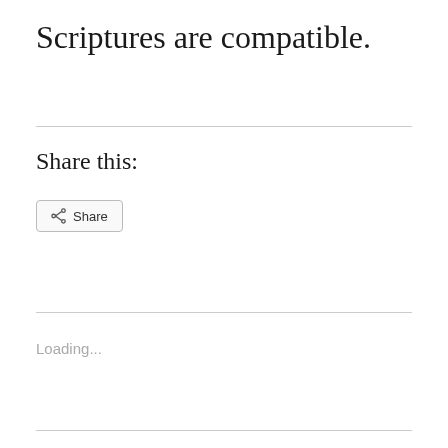Scriptures are compatible.
Share this:
[Figure (other): Share button with share icon and text 'Share']
Loading...